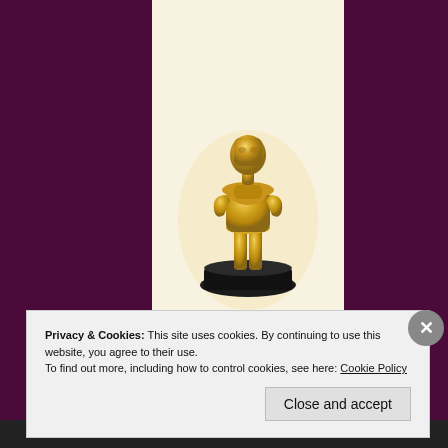[Figure (photo): Gold Oscar award statuette standing on a black base, against a white/cream background, centered in a dark purple/maroon page background]
Privacy & Cookies: This site uses cookies. By continuing to use this website, you agree to their use.
To find out more, including how to control cookies, see here: Cookie Policy
Close and accept